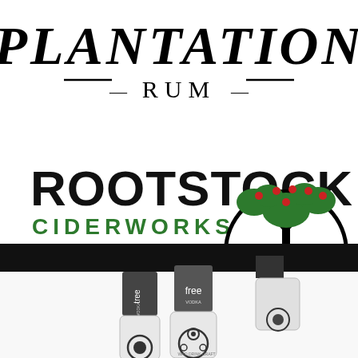[Figure (logo): Plantation Rum logo with large stylized text PLANTATION on top and — RUM — below in serif/display font, black on white]
[Figure (logo): Rootstock Ciderworks logo with bold black ROOTSTOCK text, green CIDERWORKS text with TM mark, tagline GLUTEN-FREE + NEW YORK STATE APPLES and ROOTSTOCKCIDERWORKS.COM, and a circular emblem showing a tree with roots and red apples]
[Figure (photo): Tree Vodka product photo showing three bottles with dark gray labels reading 'tree VODKA', displayed against a black banner header, bottles have round bases with circular designs]